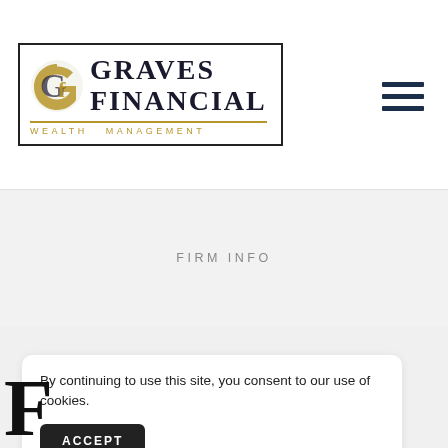[Figure (logo): Graves Financial Wealth Management logo — stylized G emblem with bold serif text GRAVES FINANCIAL and gold WEALTH MANAGEMENT subtitle, inside a rectangular border]
[Figure (other): Hamburger menu icon — three horizontal dark navy lines]
FIRM INFO
By continuing to use this site, you consent to our use of cookies.
ACCEPT
F